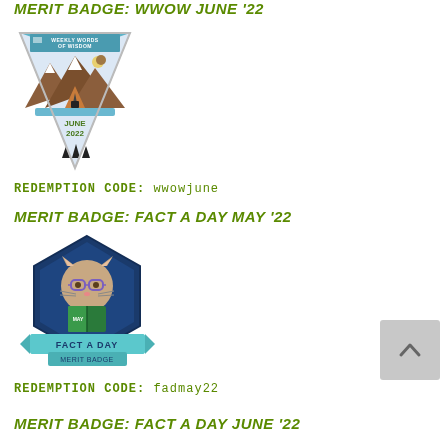MERIT BADGE: WWOW JUNE '22
[Figure (illustration): Triangular pennant badge for Weekly Words of Wisdom, June 2022, featuring a camping tent under mountains and moon with pine trees, light blue and brown color scheme]
REDEMPTION CODE: wwowjune
MERIT BADGE: FACT A DAY MAY '22
[Figure (illustration): Hexagonal dark blue merit badge featuring a cartoon cat with glasses reading a book, with a ribbon banner reading FACT A DAY MERIT BADGE in teal/light blue]
REDEMPTION CODE: fadmay22
MERIT BADGE: FACT A DAY JUNE '22